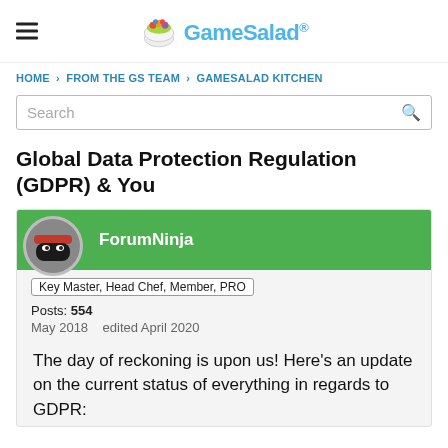GameSalad®
HOME › FROM THE GS TEAM › GAMESALAD KITCHEN
Global Data Protection Regulation (GDPR) & You
ForumNinja
Key Master, Head Chef, Member, PRO
Posts: 554
May 2018    edited April 2020
The day of reckoning is upon us! Here's an update on the current status of everything in regards to GDPR: